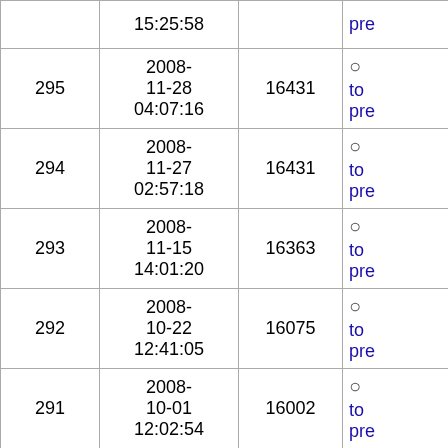| # | Date | Size | Action |
| --- | --- | --- | --- |
|  | 15:25:58 |  | pre |
| 295 | 2008-11-28 04:07:16 | 16431 | to pre |
| 294 | 2008-11-27 02:57:18 | 16431 | to pre |
| 293 | 2008-11-15 14:01:20 | 16363 | to pre |
| 292 | 2008-10-22 12:41:05 | 16075 | to pre |
| 291 | 2008-10-01 12:02:54 | 16002 | to pre |
| 290 | 2008-09-15 20:51:47 | 15904 | to pre |